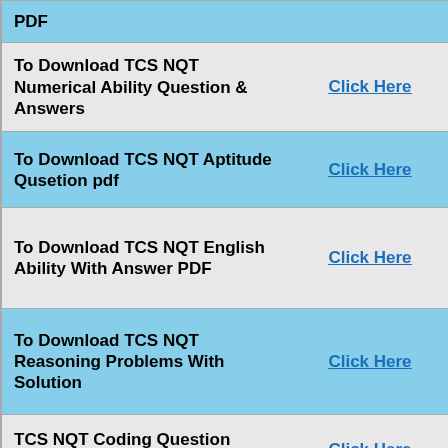| Description | Link |
| --- | --- |
| PDF |  |
| To Download TCS NQT Numerical Ability Question & Answers | Click Here |
| To Download TCS NQT Aptitude Qusetion pdf | Click Here |
| To Download TCS NQT English Ability With Answer PDF | Click Here |
| To Download TCS NQT Reasoning Problems With Solution | Click Here |
| TCS NQT Coding Question paper's PDF | Click Here |